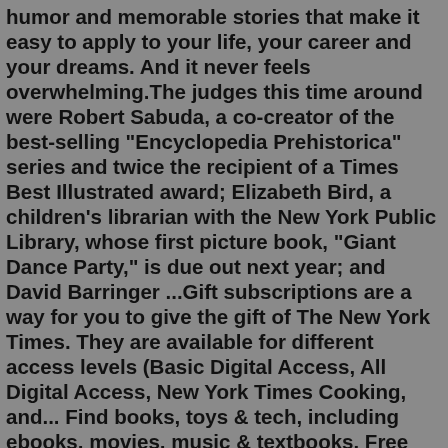humor and memorable stories that make it easy to apply to your life, your career and your dreams. And it never feels overwhelming.The judges this time around were Robert Sabuda, a co-creator of the best-selling "Encyclopedia Prehistorica" series and twice the recipient of a Times Best Illustrated award; Elizabeth Bird, a children's librarian with the New York Public Library, whose first picture book, "Giant Dance Party," is due out next year; and David Barringer ...Gift subscriptions are a way for you to give the gift of The New York Times. They are available for different access levels (Basic Digital Access, All Digital Access, New York Times Cooking, and... Find books, toys & tech, including ebooks, movies, music & textbooks. Free shipping and more for Millionaire's Club members. Visit our book stores, or shop online.In the summer of 2020, after the murder of George Floyd, Unabridged Bookstore made a commitment to each month support and contribute to organizations that work towards achieving racial justice in America, as well as